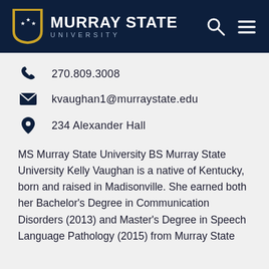[Figure (logo): Murray State University logo with shield and text on dark navy header bar with search and menu icons]
270.809.3008
kvaughan1@murraystate.edu
234 Alexander Hall
MS Murray State University BS Murray State University Kelly Vaughan is a native of Kentucky, born and raised in Madisonville. She earned both her Bachelor's Degree in Communication Disorders (2013) and Master's Degree in Speech Language Pathology (2015) from Murray State